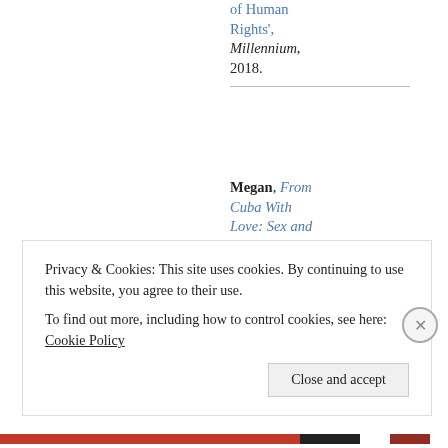of Human Rights', Millennium, 2018.
Megan, From Cuba With Love: Sex and Money in the Twenty-First Century, University of California Press, 2015.
Jairus, Savage
Privacy & Cookies: This site uses cookies. By continuing to use this website, you agree to their use. To find out more, including how to control cookies, see here: Cookie Policy